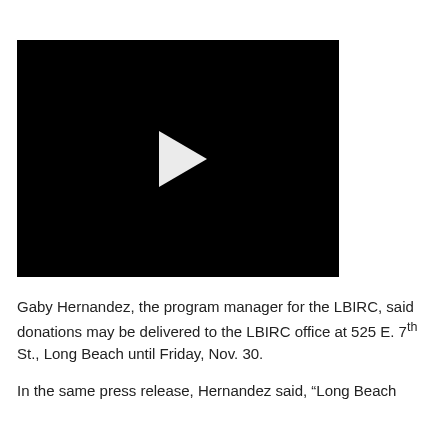[Figure (screenshot): Black video player with white play button triangle in the center]
Gaby Hernandez, the program manager for the LBIRC, said donations may be delivered to the LBIRC office at 525 E. 7th St., Long Beach until Friday, Nov. 30.
In the same press release, Hernandez said, "Long Beach